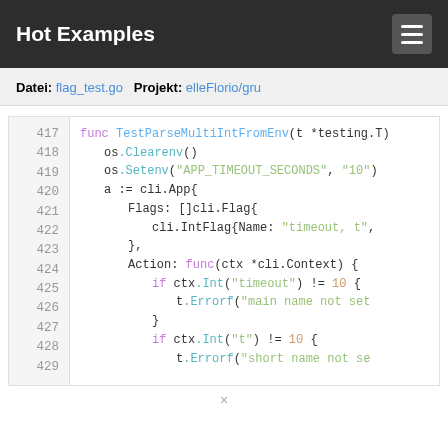Hot Examples
Datei: flag_test.go   Projekt: elleFlorio/gru
[Figure (screenshot): Go source code snippet showing function TestParseMultiIntFromEnv, lines 417-429, with syntax highlighting. Code includes os.Clearenv(), os.Setenv, cli.App struct with Flags and Action fields, and conditional checks using ctx.Int().]
×